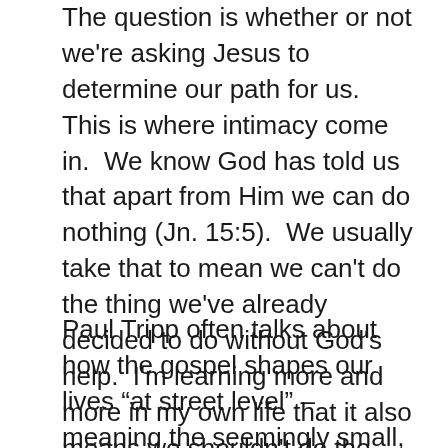The question is whether or not we're asking Jesus to determine our path for us.  This is where intimacy come in.  We know God has told us that apart from Him we can do nothing (Jn. 15:5).  We usually take that to mean we can't do the thing we've already decided to do without God's help.  I'm learning more and more in my own life that it also means we shouldn't do the deciding without God either.
Paul Tripp often talks about how the gospel shapes our lives “at street level” – meaning the seemingly small, mundane details of our lives.  I'm convinced this is one of the greatest secrets in creating and defending margin in our lives.  Prayerfully engaging Jesus in deciding how and where we spend our time gives us